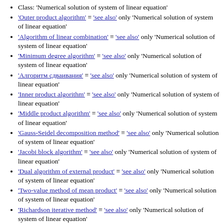Class: 'Numerical solution of system of linear equation'
'Outer product algorithm' ≡ 'see also' only 'Numerical solution of system of linear equation'
'Algorithm of linear combination' ≡ 'see also' only 'Numerical solution of system of linear equation'
'Minimum degree algorithm' ≡ 'see also' only 'Numerical solution of system of linear equation'
'Алгоритм сдваивания' ≡ 'see also' only 'Numerical solution of system of linear equation'
'Inner product algorithm' ≡ 'see also' only 'Numerical solution of system of linear equation'
'Middle product algorithm' ≡ 'see also' only 'Numerical solution of system of linear equation'
'Gauss-Seidel decomposition method' ≡ 'see also' only 'Numerical solution of system of linear equation'
'Jacobi block algorithm' ≡ 'see also' only 'Numerical solution of system of linear equation'
'Dual algorithm of external product' ≡ 'see also' only 'Numerical solution of system of linear equation'
'Two-value method of mean product' ≡ 'see also' only 'Numerical solution of system of linear equation'
'Richardson iterative method' ≡ 'see also' only 'Numerical solution of system of linear equation'
'Fine-grain algorithm of matrix decomposition' ≡ 'see also' only 'Numerical solution of system of linear equation'